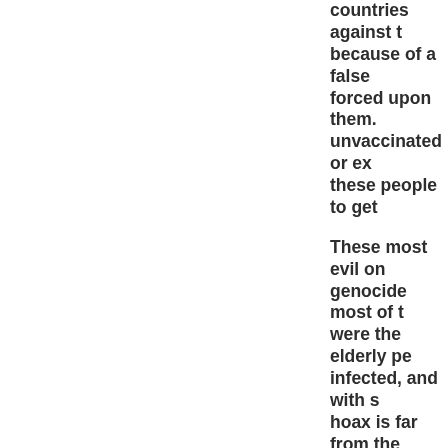countries against the because of a false forced upon them. unvaccinated or ex these people to get
These most evil on genocide most of t were the elderly pe infected, and with s hoax is far from the pronounced one de this disease, as the However, the hospi Apparently so.
The gold system ha taken over the plan with the Communis could destroy the i the little people to p LAW of RETURNS i
The arrests have co would be surprised and towns across t how his evil infecti Whether one dies i